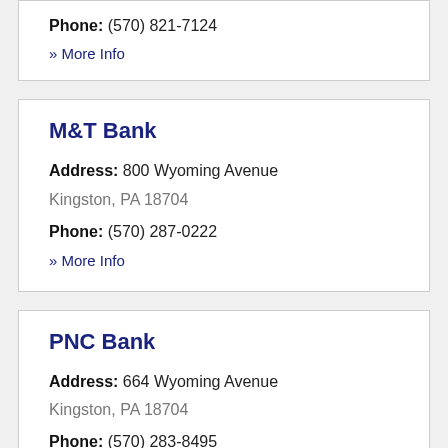Phone: (570) 821-7124
» More Info
M&T Bank
Address: 800 Wyoming Avenue
Kingston, PA 18704
Phone: (570) 287-0222
» More Info
PNC Bank
Address: 664 Wyoming Avenue
Kingston, PA 18704
Phone: (570) 283-8495
» More Info